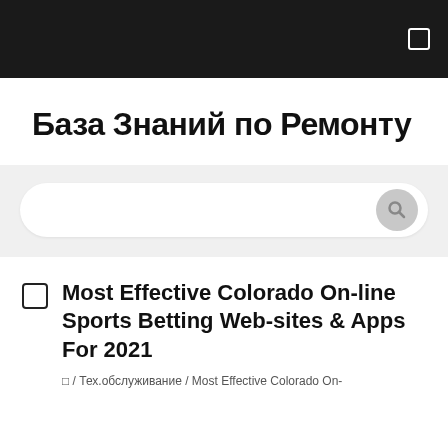База Знаний по Ремонту
[Figure (other): Search bar with rounded rectangle and search button]
Most Effective Colorado On-line Sports Betting Web-sites & Apps For 2021
⬜ / Тех.обслуживание / Most Effective Colorado On-